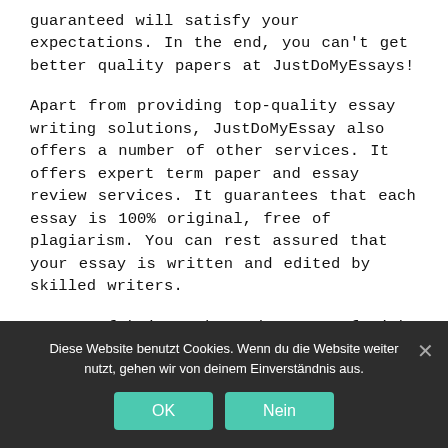guaranteed will satisfy your expectations. In the end, you can't get better quality papers at JustDoMyEssays!
Apart from providing top-quality essay writing solutions, JustDoMyEssay also offers a number of other services. It offers expert term paper and essay review services. It guarantees that each essay is 100% original, free of plagiarism. You can rest assured that your essay is written and edited by skilled writers.
Beware of being taken advantage of with scammers by examining the refund policy. S...
Diese Website benutzt Cookies. Wenn du die Website weiter nutzt, gehen wir von deinem Einverständnis aus.